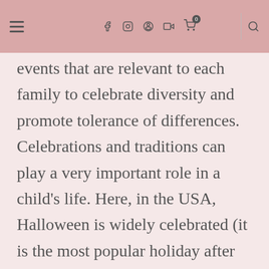navigation bar with hamburger menu, social icons (f, instagram, pinterest, youtube), cart with 0, and search
events that are relevant to each family to celebrate diversity and promote tolerance of differences. Celebrations and traditions can play a very important role in a child's life. Here, in the USA, Halloween is widely celebrated (it is the most popular holiday after Christmas), and we join in with the festivities joyfully. We do not like or promote gorry, bloody, or scary aspects of the holiday...